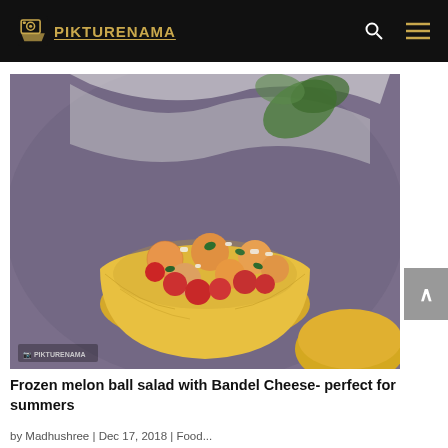PIKTURENAMA
[Figure (photo): A halved yellow melon used as a bowl, filled with melon balls, red cherry-sized fruits, crumbled white cheese, and chopped mint herbs, placed on a draped fabric surface with another melon visible in the background. A Pikturenama watermark appears at the bottom left.]
Frozen melon ball salad with Bandel Cheese- perfect for summers
by Madhushree | Dec 17, 2018 | Food...